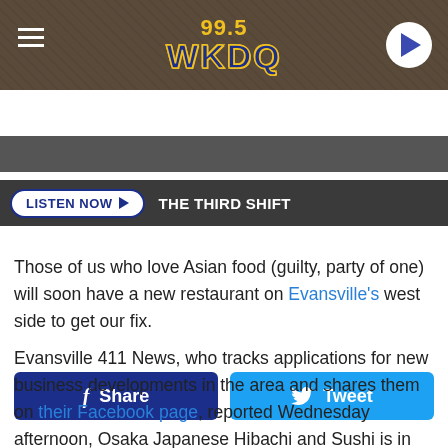[Figure (screenshot): 99.5 WKDQ radio station header banner with hamburger menu icon on left, station logo in center, and play button on right]
[Figure (screenshot): LISTEN NOW button and THE THIRD SHIFT text on dark bar]
[Figure (screenshot): Facebook Share and Tweet social media buttons]
Those of us who love Asian food (guilty, party of one) will soon have a new restaurant on Evansville's west side to get our fix.
Evansville 411 News, who tracks applications for new business developments in the area and shares them on their Facebook page, reported Wednesday afternoon, Osaka Japanese Hibachi and Sushi is in the process of taking over the space formerly known as Crazy Buffet II, and most recently Star Buffet on Pearl Drive in the building which is also home to Buffalo Wild Wings, Eye Mart, and Palm Beach